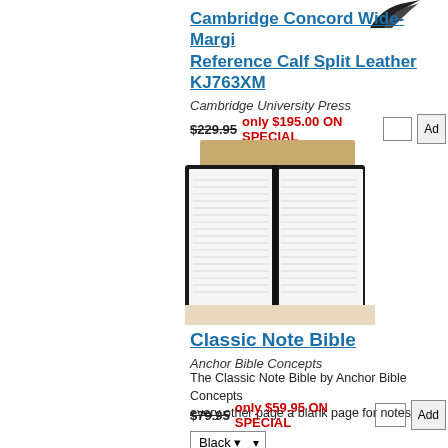[Figure (illustration): Bird illustration in top right corner]
Cambridge Concord Wide-Margin Reference Calf Split Leather KJ763XM
Cambridge University Press
$229.95 only $195.00 ON SPECIAL
[Figure (photo): Open Bible with black cover and white pages, placed on a surface with a brown book behind it]
Classic Note Bible
Anchor Bible Concepts
The Classic Note Bible by Anchor Bible Concepts every other page a blank page for notes.
$79.95 only $59.95 ON SPECIAL
Black